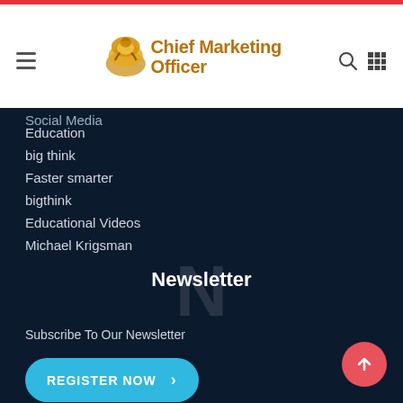Chief Marketing Officer
Social Media
Education
big think
Faster smarter
bigthink
Educational Videos
Michael Krigsman
Newsletter
Subscribe To Our Newsletter
[Figure (other): REGISTER NOW button with right arrow, cyan/blue rounded pill shape]